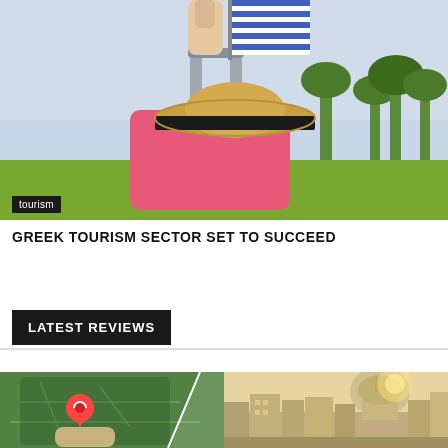[Figure (photo): Hand holding a Greek flag next to a pink suitcase with a straw hat on top, palm trees in the background]
tourism
GREEK TOURISM SECTOR SET TO SUCCEED
LATEST REVIEWS
[Figure (photo): Split composite image: left side shows hands using map with GPS pin marker, right side shows European city street with dome building in sunlight]